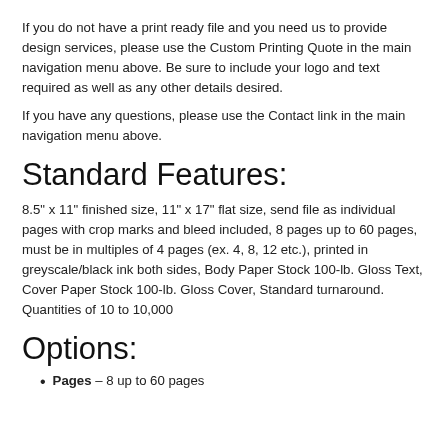If you do not have a print ready file and you need us to provide design services, please use the Custom Printing Quote in the main navigation menu above. Be sure to include your logo and text required as well as any other details desired.
If you have any questions, please use the Contact link in the main navigation menu above.
Standard Features:
8.5" x 11" finished size, 11" x 17" flat size, send file as individual pages with crop marks and bleed included, 8 pages up to 60 pages, must be in multiples of 4 pages (ex. 4, 8, 12 etc.), printed in greyscale/black ink both sides, Body Paper Stock 100-lb. Gloss Text, Cover Paper Stock 100-lb. Gloss Cover, Standard turnaround.
Quantities of 10 to 10,000
Options:
Pages – 8 up to 60 pages